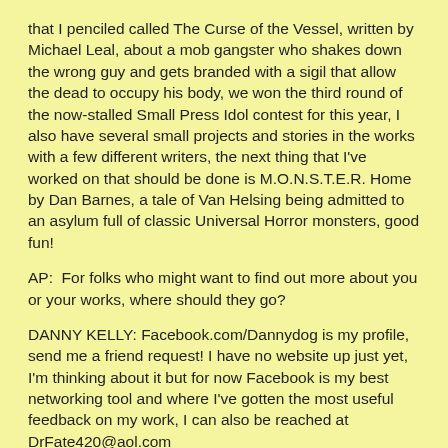that I penciled called The Curse of the Vessel, written by Michael Leal, about a mob gangster who shakes down the wrong guy and gets branded with a sigil that allow the dead to occupy his body, we won the third round of the now-stalled Small Press Idol contest for this year, I also have several small projects and stories in the works with a few different writers, the next thing that I've worked on that should be done is M.O.N.S.T.E.R. Home by Dan Barnes, a tale of Van Helsing being admitted to an asylum full of classic Universal Horror monsters, good fun!
AP:  For folks who might want to find out more about you or your works, where should they go?
DANNY KELLY: Facebook.com/Dannydog is my profile, send me a friend request! I have no website up just yet, I'm thinking about it but for now Facebook is my best networking tool and where I've gotten the most useful feedback on my work, I can also be reached at DrFate420@aol.com